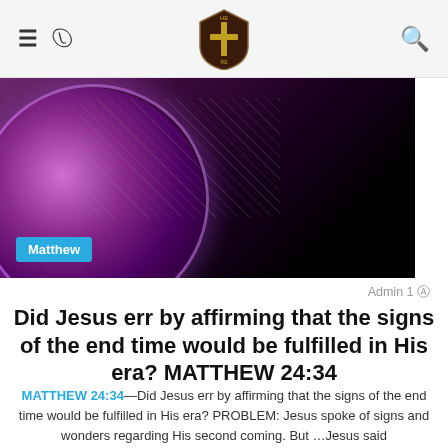≡ ☾ [logo] 🔍
[Figure (photo): Dark space scene with a purple/pink planet and glowing rim, hero banner image with Matthew category tag overlay]
Admin 1
Did Jesus err by affirming that the signs of the end time would be fulfilled in His era? MATTHEW 24:34
MATTHEW 24:34—Did Jesus err by affirming that the signs of the end time would be fulfilled in His era? PROBLEM: Jesus spoke of signs and wonders regarding His second coming. But …Jesus said